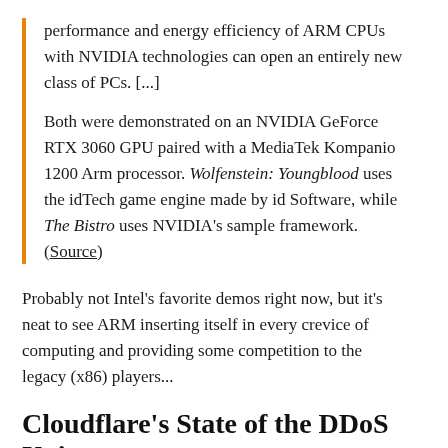performance and energy efficiency of ARM CPUs with NVIDIA technologies can open an entirely new class of PCs. [...]
Both were demonstrated on an NVIDIA GeForce RTX 3060 GPU paired with a MediaTek Kompanio 1200 Arm processor. Wolfenstein: Youngblood uses the idTech game engine made by id Software, while The Bistro uses NVIDIA's sample framework. (Source)
Probably not Intel's favorite demos right now, but it's neat to see ARM inserting itself in every crevice of computing and providing some competition to the legacy (x86) players...
Cloudflare's State of the DDoS Union